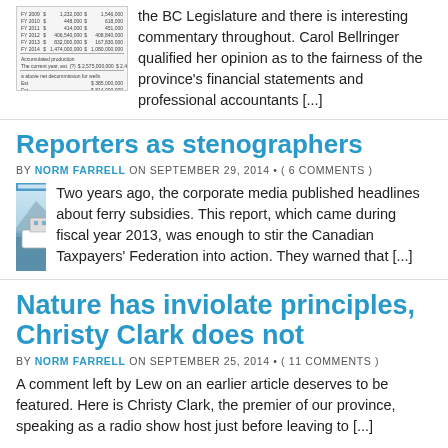the BC Legislature and there is interesting commentary throughout. Carol Bellringer qualified her opinion as to the fairness of the province's financial statements and professional accountants [...]
Reporters as stenographers
BY NORM FARRELL ON SEPTEMBER 29, 2014 • ( 6 COMMENTS )
[Figure (screenshot): Thumbnail screenshot of a webpage about ferry subsidies]
Two years ago, the corporate media published headlines about ferry subsidies. This report, which came during fiscal year 2013, was enough to stir the Canadian Taxpayers' Federation into action. They warned that [...]
Nature has inviolate principles, Christy Clark does not
BY NORM FARRELL ON SEPTEMBER 25, 2014 • ( 11 COMMENTS )
A comment left by Lew on an earlier article deserves to be featured. Here is Christy Clark, the premier of our province, speaking as a radio show host just before leaving to [...]